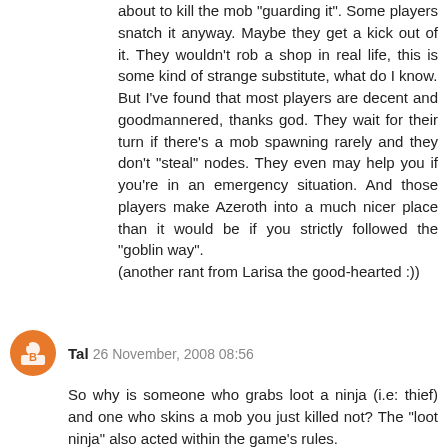about to kill the mob "guarding it". Some players snatch it anyway. Maybe they get a kick out of it. They wouldn't rob a shop in real life, this is some kind of strange substitute, what do I know.
But I've found that most players are decent and goodmannered, thanks god. They wait for their turn if there's a mob spawning rarely and they don't "steal" nodes. They even may help you if you're in an emergency situation. And those players make Azeroth into a much nicer place than it would be if you strictly followed the "goblin way".
(another rant from Larisa the good-hearted :))
Reply
Tal  26 November, 2008 08:56
So why is someone who grabs loot a ninja (i.e: thief) and one who skins a mob you just killed not? The "loot ninja" also acted within the game's rules.
As Larisa said, there are some unwritten laws, or rather customs. Although Blizzard won't do anything to you if you ignore them, the "community" right way setting...